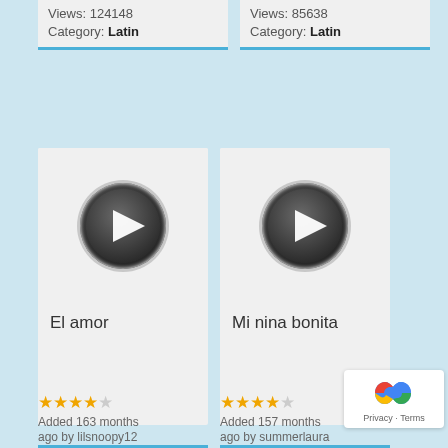Views: 124148
Category: Latin
Views: 85638
Category: Latin
[Figure (illustration): Video thumbnail with play button for 'El amor']
El amor
[Figure (illustration): Video thumbnail with play button for 'Mi nina bonita']
Mi nina bonita
★★★★☆
Added 163 months ago by lilsnoopy12
Views: 68768
Category: Latin
★★★★☆
Added 157 months ago by summerlaura
Views: 66900
Category: Latin